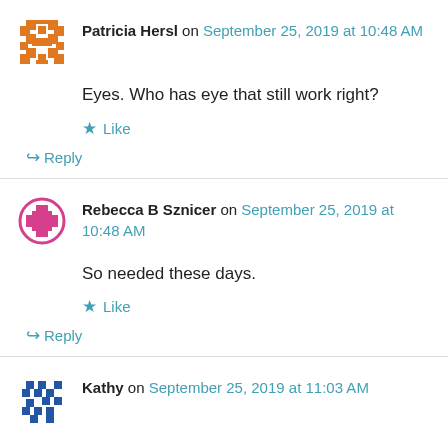Patricia Hersl on September 25, 2019 at 10:48 AM
Eyes. Who has eye that still work right?
Like
Reply
Rebecca B Sznicer on September 25, 2019 at 10:48 AM
So needed these days.
Like
Reply
Kathy on September 25, 2019 at 11:03 AM